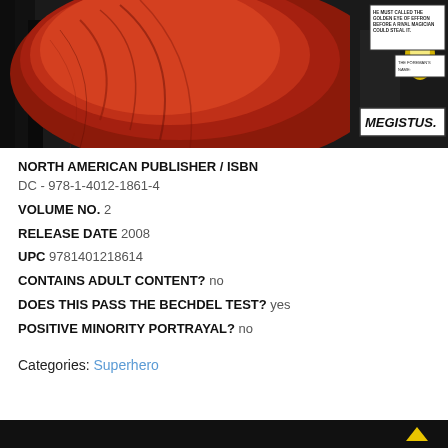[Figure (illustration): Comic book cover art featuring a large red demonic or supernatural figure with dark forest background and a smaller inset panel with text 'MEGISTUS.' and dialogue about the Golden Eye of Effron and a magician.]
NORTH AMERICAN PUBLISHER / ISBN
DC - 978-1-4012-1861-4
VOLUME NO. 2
RELEASE DATE 2008
UPC 9781401218614
CONTAINS ADULT CONTENT? no
DOES THIS PASS THE BECHDEL TEST? yes
POSITIVE MINORITY PORTRAYAL? no
Categories: Superhero